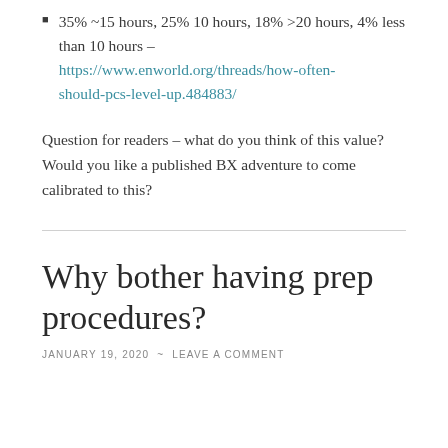35% ~15 hours, 25% 10 hours, 18% >20 hours, 4% less than 10 hours – https://www.enworld.org/threads/how-often-should-pcs-level-up.484883/
Question for readers – what do you think of this value? Would you like a published BX adventure to come calibrated to this?
Why bother having prep procedures?
JANUARY 19, 2020 ~ LEAVE A COMMENT